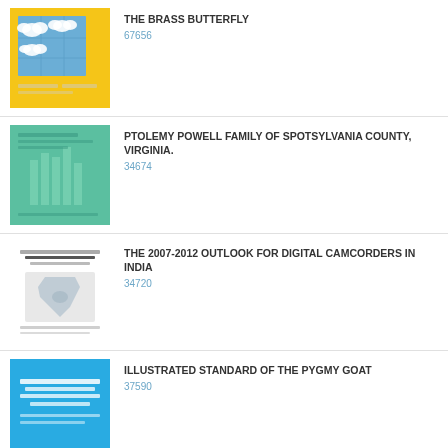[Figure (illustration): Book cover - The Brass Butterfly, yellow background with blue box containing white clouds]
THE BRASS BUTTERFLY
67656
[Figure (illustration): Book cover - Ptolemy Powell Family of Spotsylvania County Virginia, teal/green background with lighter vertical lines]
PTOLEMY POWELL FAMILY OF SPOTSYLVANIA COUNTY, VIRGINIA.
34674
[Figure (illustration): Book cover - The 2007-2012 Outlook for Digital Camcorders in India, white cover with text and small map of India]
THE 2007-2012 OUTLOOK FOR DIGITAL CAMCORDERS IN INDIA
34720
[Figure (illustration): Book cover - Illustrated Standard of the Pygmy Goat, bright blue cover with white text]
ILLUSTRATED STANDARD OF THE PYGMY GOAT
37590